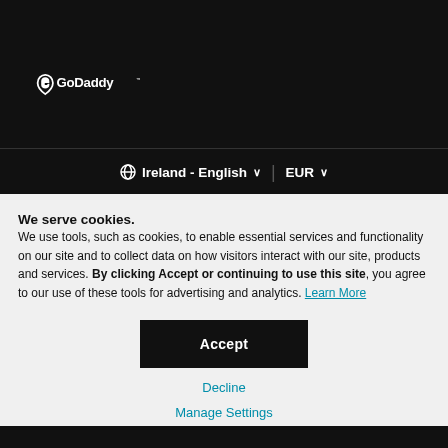[Figure (logo): GoDaddy logo in white on dark background]
⊕ Ireland - English ∨   EUR ∨
We serve cookies. We use tools, such as cookies, to enable essential services and functionality on our site and to collect data on how visitors interact with our site, products and services. By clicking Accept or continuing to use this site, you agree to our use of these tools for advertising and analytics. Learn More
Accept
Decline
Manage Settings